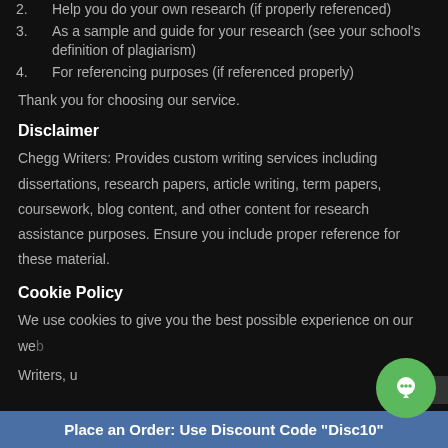2. Help you do your own research (if properly referenced)
3. As a sample and guide for your research (see your school's definition of plagiarism)
4. For referencing purposes (if referenced properly)
Thank you for choosing our service.
Disclaimer
Chegg Writers: Provides custom writing services including dissertations, research papers, article writing, term papers, coursework, blog content, and other content for research assistance purposes. Ensure you include proper reference for these material.
Cookie Policy
We use cookies to give you the best possible experience on our web
Writers, u